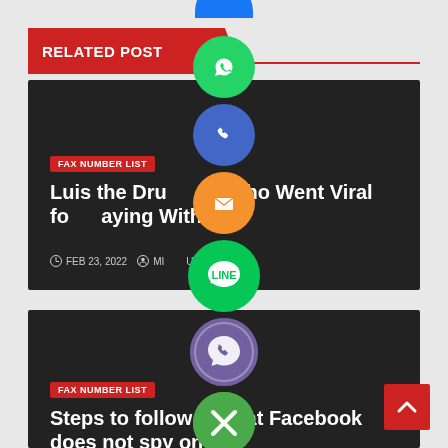RELATED POST
[Figure (infographic): Vertical stack of social share buttons: WhatsApp (green), Phone/Call (blue), Email (orange), LINE (green), Viber (purple), Close (green with X)]
Luis the Drummer Who Went Viral for Playing With
FAX NUMBER LIST  •  FEB 23, 2022  •  MIRFUL
Steps to follow so that Facebook does not spy on